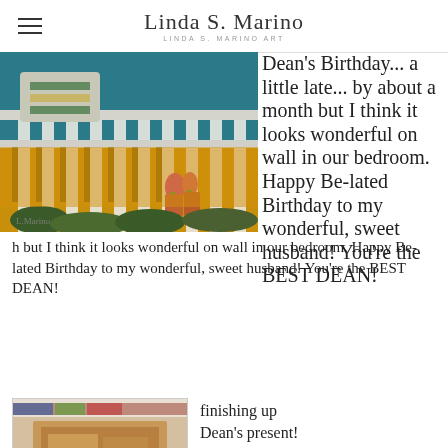Linda S. Marino / LINDA S. MARINO ART
[Figure (photo): Painting of a porch scene with white fence railings, rocking chairs with striped cushions, teal background, warm golden light filtering through fence posts, flowers and foliage below]
Dean's Birthday... a little late... by about a month but I think it looks wonderful on wall in our bedroom. Happy Be-lated Birthday to my wonderful, sweet husband! You're the BEST DEAN!
[Figure (photo): Photo of a painting in progress being finished up, warm tones, appears to be in a studio or gallery setting]
finishing up Dean's present!